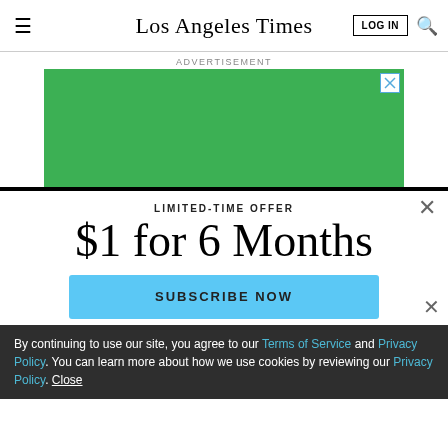Los Angeles Times
ADVERTISEMENT
[Figure (other): Green advertisement banner with close button]
LIMITED-TIME OFFER
$1 for 6 Months
SUBSCRIBE NOW
By continuing to use our site, you agree to our Terms of Service and Privacy Policy. You can learn more about how we use cookies by reviewing our Privacy Policy. Close